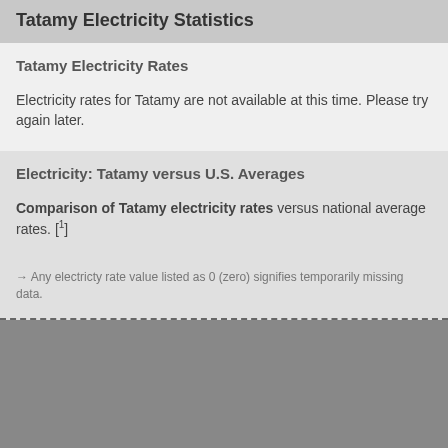Tatamy Electricity Statistics
Tatamy Electricity Rates
Electricity rates for Tatamy are not available at this time. Please try again later.
Electricity: Tatamy versus U.S. Averages
Comparison of Tatamy electricity rates versus national average rates. [1]
→ Any electricty rate value listed as 0 (zero) signifies temporarily missing data.